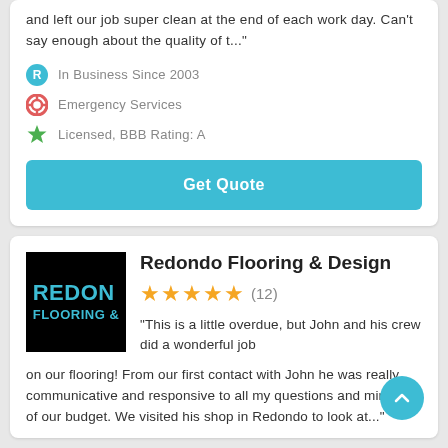and left our job super clean at the end of each work day. Can't say enough about the quality of t..."
In Business Since 2003
Emergency Services
Licensed, BBB Rating: A
Get Quote
Redondo Flooring & Design
★★★★★ (12)
"This is a little overdue, but John and his crew did a wonderful job on our flooring! From our first contact with John he was really communicative and responsive to all my questions and mindful of our budget. We visited his shop in Redondo to look at..."